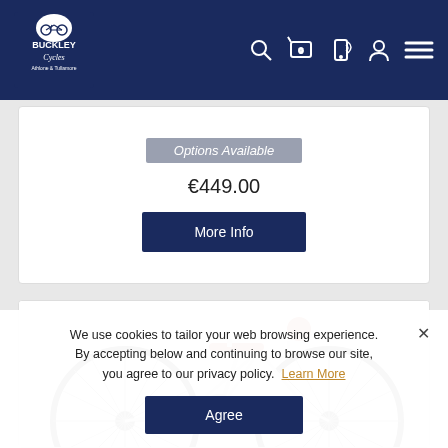Buckley Cycles — navigation header with logo and icons
Options Available
€449.00
More Info
[Figure (photo): Partial view of a white bicycle including saddle, handlebars, front wheel and rear wheel visible in a product card]
We use cookies to tailor your web browsing experience. By accepting below and continuing to browse our site, you agree to our privacy policy. Learn More
Agree